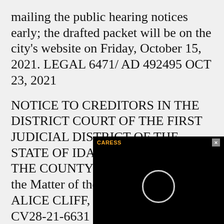mailing the public hearing notices early; the drafted packet will be on the city's website on Friday, October 15, 2021. LEGAL 6471/ AD 492495 OCT 23, 2021
NOTICE TO CREDITORS IN THE DISTRICT COURT OF THE FIRST JUDICIAL DISTRICT OF THE STATE OF IDAHO, IN AND FOR THE COUNTY OF KOOTENAI In the Matter of the Estate of: SUSAN ALICE CLIFF, Deceased. CASE NO. CV28-21-6631 NOTICE IS HEREBY GIVEN that the und[ersigned has been] appointed Persona[l Representative of the] above-named Dece[dent. All persons having] claims against the [estate of the Decedent] are required to present their claims withi[n]
[Figure (other): Black video overlay panel with orange label text 'CARESS' and a circular loading spinner on black background, with a close button (×) in the top right corner.]